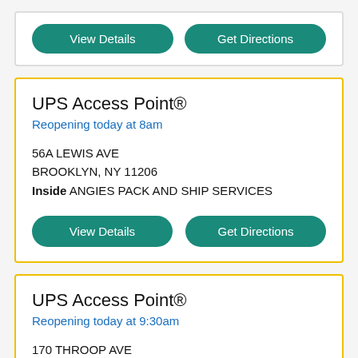[Figure (screenshot): Top card partial view with two teal buttons: 'View Details' and 'Get Directions']
UPS Access Point®
Reopening today at 8am
56A LEWIS AVE
BROOKLYN, NY 11206
Inside ANGIES PACK AND SHIP SERVICES
View Details
Get Directions
UPS Access Point®
Reopening today at 9:30am
170 THROOP AVE